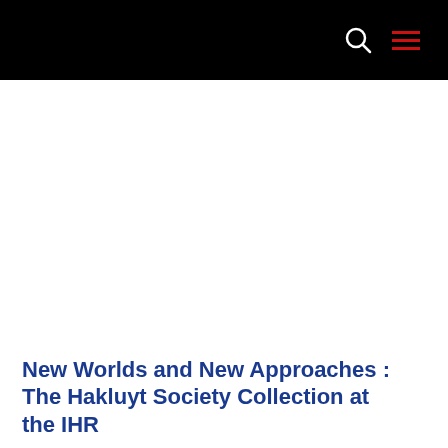New Worlds and New Approaches : The Hakluyt Society Collection at the IHR